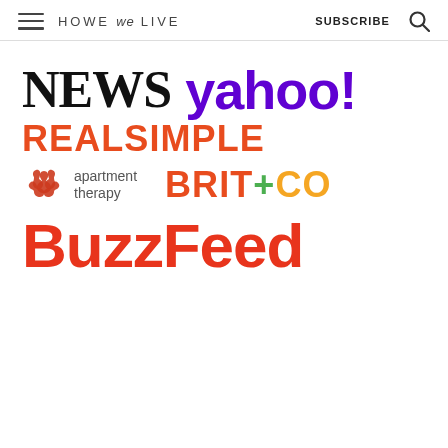HOWE we LIVE  SUBSCRIBE
[Figure (logo): NEWS logo in black serif font, followed by yahoo! logo in purple bold sans-serif]
[Figure (logo): REALSIMPLE logo in orange-red bold sans-serif]
[Figure (logo): apartment therapy logo with red asterisk icon and text, alongside BRIT+CO logo with orange BRIT, green plus, yellow CO]
[Figure (logo): BuzzFeed logo in large red bold sans-serif]